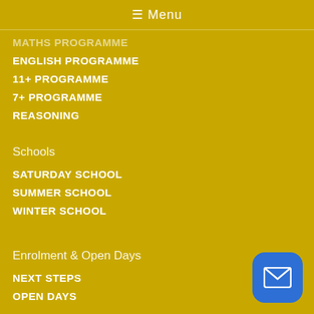≡ Menu
MATHS PROGRAMME
ENGLISH PROGRAMME
11+ PROGRAMME
7+ PROGRAMME
REASONING
Schools
SATURDAY SCHOOL
SUMMER SCHOOL
WINTER SCHOOL
Enrolment & Open Days
NEXT STEPS
OPEN DAYS
[Figure (illustration): Blue rounded square button with white envelope/email icon]